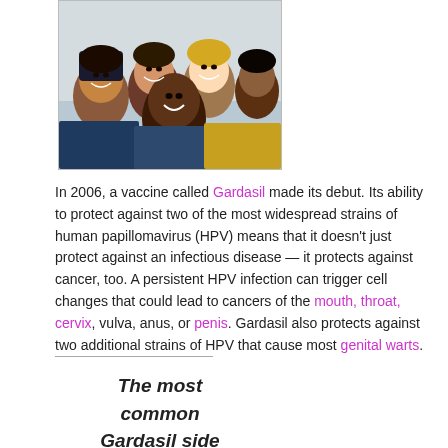[Figure (photo): Group of young people smiling together, diverse group of teenagers/young adults]
In 2006, a vaccine called Gardasil made its debut. Its ability to protect against two of the most widespread strains of human papillomavirus (HPV) means that it doesn't just protect against an infectious disease — it protects against cancer, too. A persistent HPV infection can trigger cell changes that could lead to cancers of the mouth, throat, cervix, vulva, anus, or penis. Gardasil also protects against two additional strains of HPV that cause most genital warts.
The most common Gardasil side